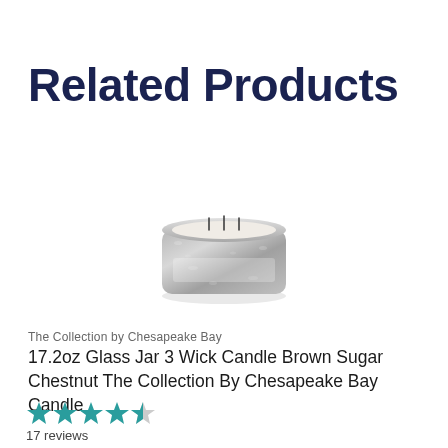Related Products
[Figure (photo): A glass jar candle with three wicks and a silvery/mercury glass exterior, viewed from slightly above.]
The Collection by Chesapeake Bay
17.2oz Glass Jar 3 Wick Candle Brown Sugar Chestnut The Collection By Chesapeake Bay Candle
★★★★☆ 17 reviews